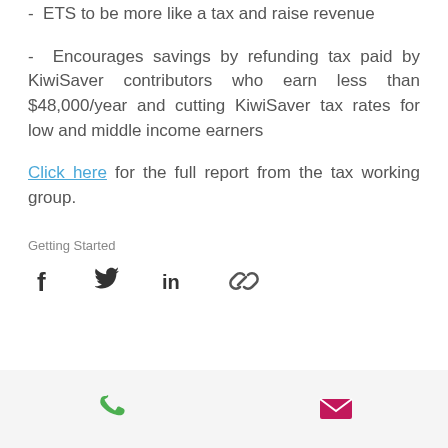- ETS to be more like a tax and raise revenue
- Encourages savings by refunding tax paid by KiwiSaver contributors who earn less than $48,000/year and cutting KiwiSaver tax rates for low and middle income earners
Click here for the full report from the tax working group.
Getting Started
[Figure (infographic): Social share icons: Facebook, Twitter, LinkedIn, link/chain icon]